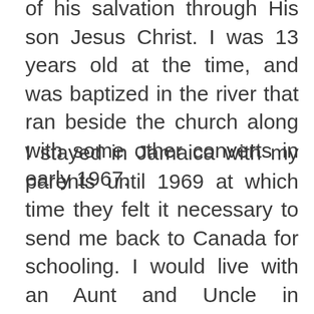of his salvation through His son Jesus Christ. I was 13 years old at the time, and was baptized in the river that ran beside the church along with some other converts in early 1967.
I stayed in Jamaica with my parents until 1969 at which time they felt it necessary to send me back to Canada for schooling. I would live with an Aunt and Uncle in Montreal and attend school along with their 6 children. It was another dramatic change in my life, and while at the time I found it exciting, there were a